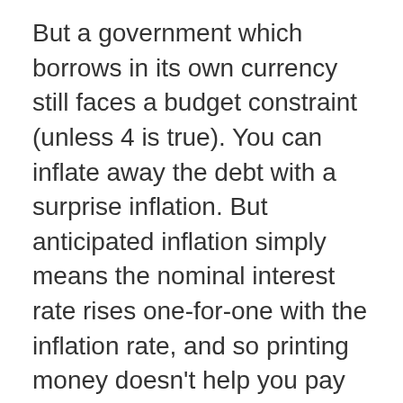But a government which borrows in its own currency still faces a budget constraint (unless 4 is true). You can inflate away the debt with a surprise inflation. But anticipated inflation simply means the nominal interest rate rises one-for-one with the inflation rate, and so printing money doesn't help you pay down the debt. (There is a limit to the real seigniorage revenue from printing money).
Normand: If 4 is true we should not be paying taxes at the margin. We should cut taxes, and increase the debt,